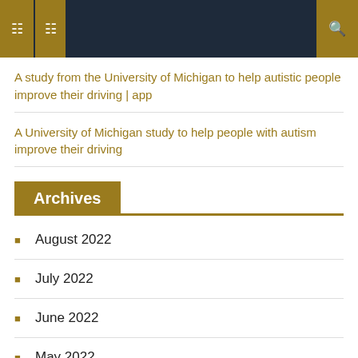Navigation bar with menu icons and search
A study from the University of Michigan to help autistic people improve their driving | app
A University of Michigan study to help people with autism improve their driving
Archives
August 2022
July 2022
June 2022
May 2022
April 2022